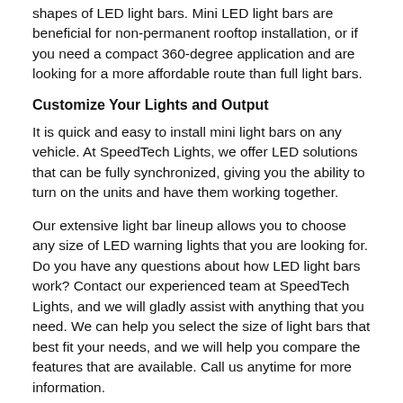shapes of LED light bars. Mini LED light bars are beneficial for non-permanent rooftop installation, or if you need a compact 360-degree application and are looking for a more affordable route than full light bars.
Customize Your Lights and Output
It is quick and easy to install mini light bars on any vehicle. At SpeedTech Lights, we offer LED solutions that can be fully synchronized, giving you the ability to turn on the units and have them working together.
Our extensive light bar lineup allows you to choose any size of LED warning lights that you are looking for. Do you have any questions about how LED light bars work? Contact our experienced team at SpeedTech Lights, and we will gladly assist with anything that you need. We can help you select the size of light bars that best fit your needs, and we will help you compare the features that are available. Call us anytime for more information.
MultiColor LED Mini Light Bars - Dual/Tri/Four Color